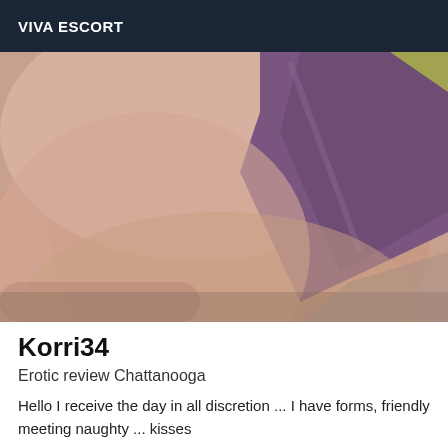VIVA ESCORT
[Figure (photo): Close-up photo with purple/mauve fabric against skin-toned background]
Korri34
Erotic review Chattanooga
Hello I receive the day in all discretion ... I have forms, friendly meeting naughty ... kisses